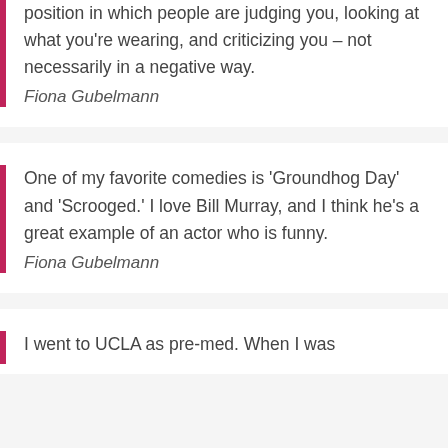position in which people are judging you, looking at what you're wearing, and criticizing you – not necessarily in a negative way.
Fiona Gubelmann
One of my favorite comedies is 'Groundhog Day' and 'Scrooged.' I love Bill Murray, and I think he's a great example of an actor who is funny.
Fiona Gubelmann
I went to UCLA as pre-med. When I was